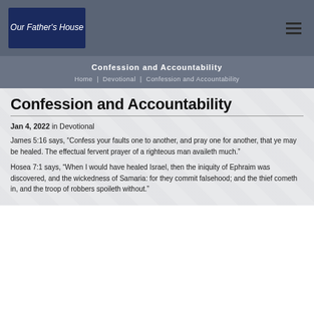[Figure (logo): Our Father's House church logo — dark blue rectangle with cursive white script text]
Confession and Accountability
Home | Devotional | Confession and Accountability
Confession and Accountability
Jan 4, 2022 in Devotional
James 5:16 says, “Confess your faults one to another, and pray one for another, that ye may be healed. The effectual fervent prayer of a righteous man availeth much.”
Hosea 7:1 says, “When I would have healed Israel, then the iniquity of Ephraim was discovered, and the wickedness of Samaria: for they commit falsehood; and the thief cometh in, and the troop of robbers spoileth without.”